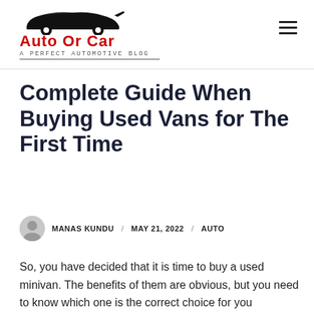[Figure (logo): Auto Or Car blog logo with car silhouette and tagline 'A Perfect Automotive Blog']
Complete Guide When Buying Used Vans for The First Time
MANAS KUNDU / MAY 21, 2022 / AUTO
So, you have decided that it is time to buy a used minivan. The benefits of them are obvious, but you need to know which one is the correct choice for you